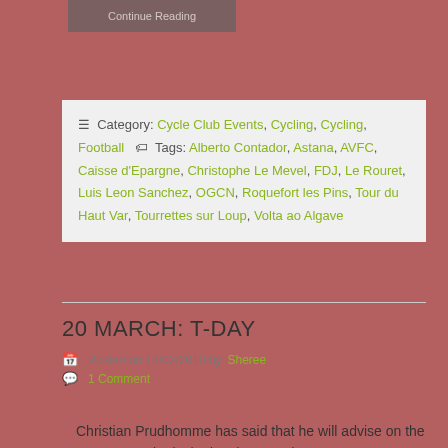[Figure (other): Continue Reading button, grey/dark background]
Category: Cycle Club Events, Cycling, Cycling, Football   Tags: Alberto Contador, Astana, AVFC, Caisse d'Epargne, Christophe Le Mevel, FDJ, Le Rouret, Luis Leon Sanchez, OGCN, Roquefort les Pins, Tour du Haut Var, Tourrettes sur Loup, Volta ao Algave
20 MARCH: T-DAY
Posted on 13/02/2010 by Sheree
1 Comment
Christian Prudhomme has said that he will advise on the 22 teams to be invited to the Tour de France on 20 March,